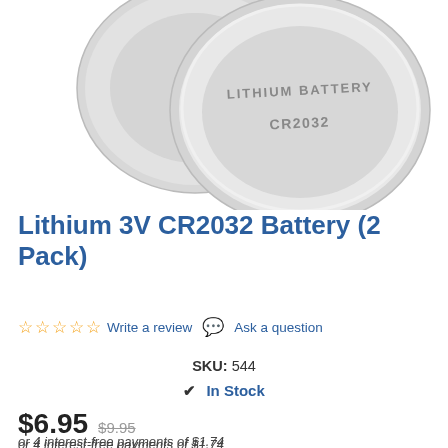[Figure (photo): Two silver CR2032 lithium 3V coin batteries, one stacked behind the other, with text LITHIUM BATTERY and CR2032 embossed on the top battery]
Lithium 3V CR2032 Battery (2 Pack)
Write a review  Ask a question
SKU: 544
In Stock
$6.95  $9.95
or 4 interest-free payments of $1.74
afterpay  Learn more